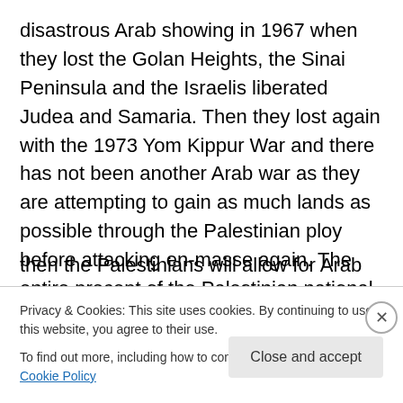disastrous Arab showing in 1967 when they lost the Golan Heights, the Sinai Peninsula and the Israelis liberated Judea and Samaria. Then they lost again with the 1973 Yom Kippur War and there has not been another Arab war as they are attempting to gain as much lands as possible through the Palestinian ploy before attacking en-masse again. The entire precept of the Palestinian national movement is to weaken Israel by taking as much land or even destroying Israel through political means and once the Arabs have taken all they can possibly gain politically then the Palestinians will allow for Arab armies to mass on
Privacy & Cookies: This site uses cookies. By continuing to use this website, you agree to their use.
To find out more, including how to control cookies, see here: Cookie Policy